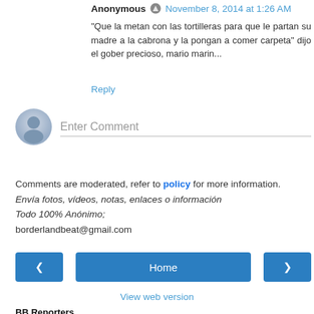Anonymous · November 8, 2014 at 1:26 AM
"Que la metan con las tortilleras para que le partan su madre a la cabrona y la pongan a comer carpeta" dijo el gober precioso, mario marin...
Reply
[Figure (other): Enter Comment input field with avatar icon]
Comments are moderated, refer to policy for more information.
Envía fotos, vídeos, notas, enlaces o información
Todo 100% Anónimo;
borderlandbeat@gmail.com
[Figure (infographic): Navigation buttons: left arrow, Home, right arrow]
View web version
BB Reporters